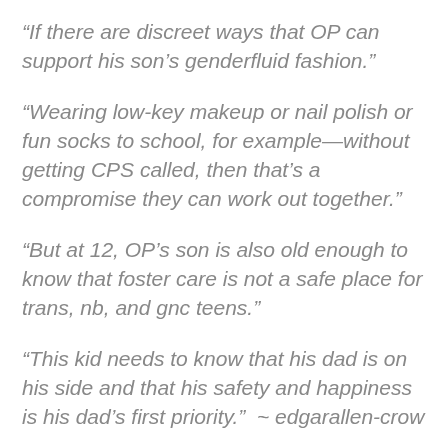“If there are discreet ways that OP can support his son’s genderfluid fashion.”
“Wearing low-key makeup or nail polish or fun socks to school, for example—without getting CPS called, then that’s a compromise they can work out together.”
“But at 12, OP’s son is also old enough to know that foster care is not a safe place for trans, nb, and gnc teens.”
“This kid needs to know that his dad is on his side and that his safety and happiness is his dad’s first priority.”  ~ edgarallen-crow